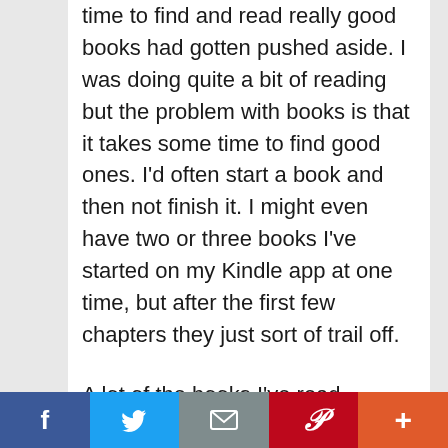time to find and read really good books had gotten pushed aside. I was doing quite a bit of reading but the problem with books is that it takes some time to find good ones. I'd often start a book and then not finish it. I might even have two or three books I've started on my Kindle app at one time, but after the first few chapters they just sort of trail off.
A lot of the books I've read, especially nonfiction, business, and finance books start out like gangbusters then end up